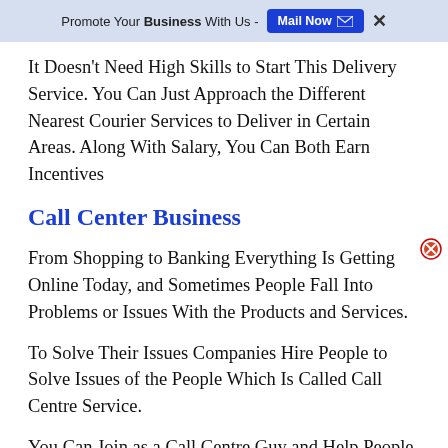Promote Your Business With Us - Mail Now ✕
It Doesn't Need High Skills to Start This Delivery Service. You Can Just Approach the Different Nearest Courier Services to Deliver in Certain Areas. Along With Salary, You Can Both Earn Incentives
Call Center Business
From Shopping to Banking Everything Is Getting Online Today, and Sometimes People Fall Into Problems or Issues With the Products and Services.
To Solve Their Issues Companies Hire People to Solve Issues of the People Which Is Called Call Centre Service.
You Can Join as a Call Centre Guy and Help People